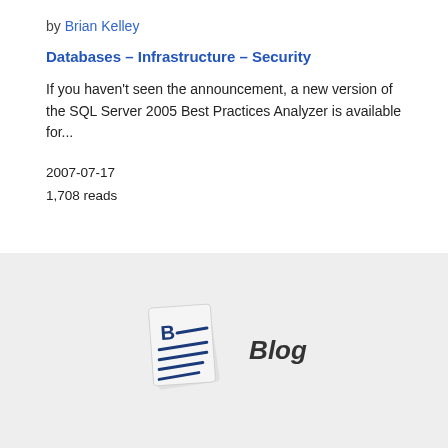by Brian Kelley
Databases – Infrastructure – Security
If you haven't seen the announcement, a new version of the SQL Server 2005 Best Practices Analyzer is available for...
2007-07-17
1,708 reads
[Figure (illustration): Blog icon with document and 'Blog' text label on grey background]